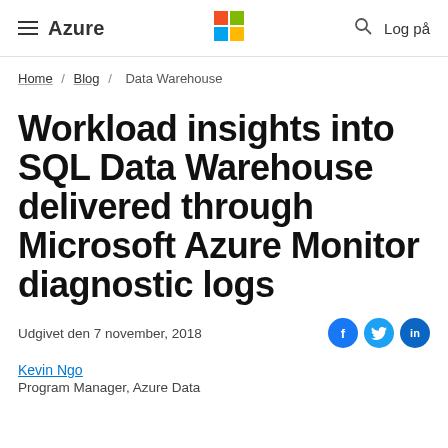≡ Azure | Microsoft logo | 🔍 Log på
Home / Blog / Data Warehouse
Workload insights into SQL Data Warehouse delivered through Microsoft Azure Monitor diagnostic logs
Udgivet den 7 november, 2018
Kevin Ngo
Program Manager, Azure Data